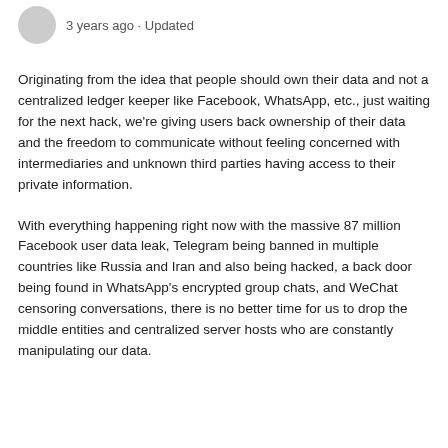3 years ago · Updated
Originating from the idea that people should own their data and not a centralized ledger keeper like Facebook, WhatsApp, etc., just waiting for the next hack, we're giving users back ownership of their data and the freedom to communicate without feeling concerned with intermediaries and unknown third parties having access to their private information.
With everything happening right now with the massive 87 million Facebook user data leak, Telegram being banned in multiple countries like Russia and Iran and also being hacked, a back door being found in WhatsApp's encrypted group chats, and WeChat censoring conversations, there is no better time for us to drop the middle entities and centralized server hosts who are constantly manipulating our data.